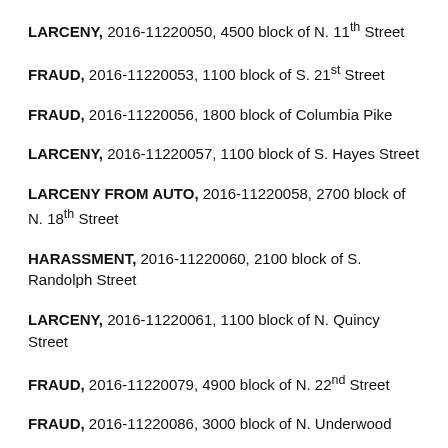LARCENY, 2016-11220050, 4500 block of N. 11th Street
FRAUD, 2016-11220053, 1100 block of S. 21st Street
FRAUD, 2016-11220056, 1800 block of Columbia Pike
LARCENY, 2016-11220057, 1100 block of S. Hayes Street
LARCENY FROM AUTO, 2016-11220058, 2700 block of N. 18th Street
HARASSMENT, 2016-11220060, 2100 block of S. Randolph Street
LARCENY, 2016-11220061, 1100 block of N. Quincy Street
FRAUD, 2016-11220079, 4900 block of N. 22nd Street
FRAUD, 2016-11220086, 3000 block of N. Underwood